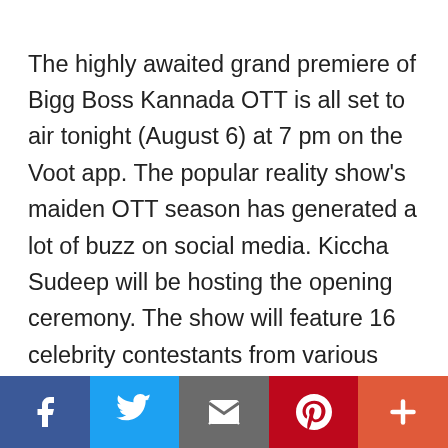The highly awaited grand premiere of Bigg Boss Kannada OTT is all set to air tonight (August 6) at 7 pm on the Voot app. The popular reality show's maiden OTT season has generated a lot of buzz on social media. Kiccha Sudeep will be hosting the opening ceremony. The show will feature 16 celebrity contestants from various professions. Here are the Live Updates of the Bigg Boss Kannada OTT Premiere Episode! # Host Sudeep makes a grand entry on the BB stage and welcomes the audience for the very first season of Bigg Boss Kannada OTT. He is then joined by Bigg Boss Kannada 7 contestant Vasuki Vaibhav and the
Facebook | Twitter | Email | Pinterest | More